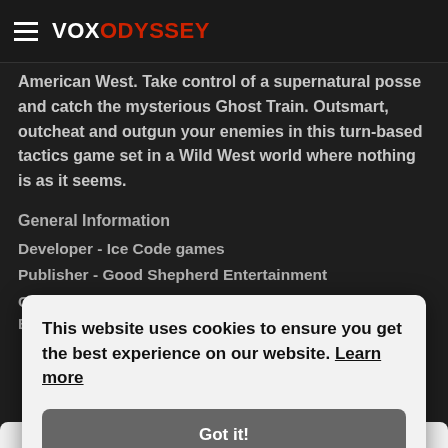VOX ODYSSEY
American West. Take control of a supernatural posse and catch the mysterious Ghost Train. Outsmart, outcheat and outgun your enemies in this turn-based tactics game set in a Wild West world where nothing is as it seems.
General Information
Developer - Ice Code games
Publisher - Good Shepherd Entertainment
Genre - RPG, Turn-Based Strategy, Western, Turn-Based
This website uses cookies to ensure you get the best experience on our website. Learn more
Got it!